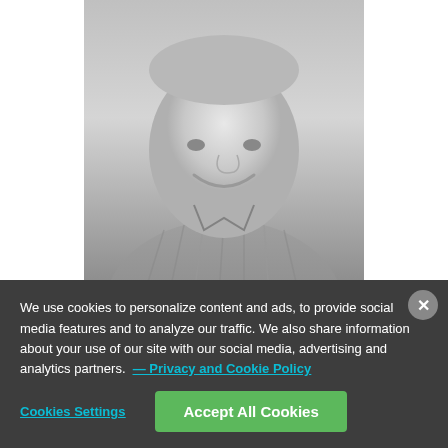[Figure (photo): Black and white headshot photo of Josh Axelrod, a smiling man in a plaid/checkered shirt, cropped from shoulders up]
JOSH AXELROD
Senior Advocate, Nature Program
We use cookies to personalize content and ads, to provide social media features and to analyze our traffic. We also share information about your use of our site with our social media, advertising and analytics partners. — Privacy and Cookie Policy
Cookies Settings
Accept All Cookies